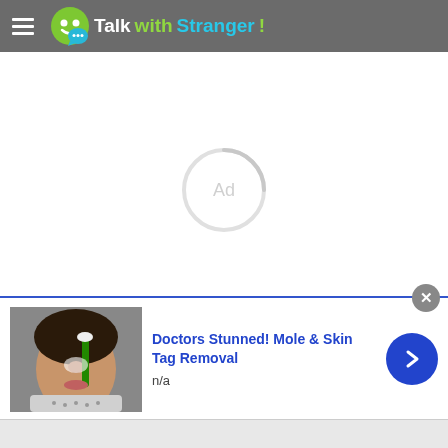TalkwithStranger!
[Figure (infographic): Ad loading spinner - circular arc spinner with 'Ad' text in center, light gray color]
[Figure (infographic): Advertisement banner: image of person applying cream to face (mole/skin tag removal ad), with X close button, title 'Doctors Stunned! Mole & Skin Tag Removal', subtitle 'n/a', and blue circular arrow button]
Doctors Stunned! Mole & Skin Tag Removal
n/a